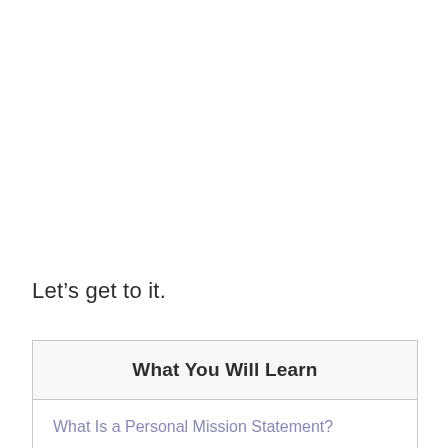Let’s get to it.
What You Will Learn
What Is a Personal Mission Statement?